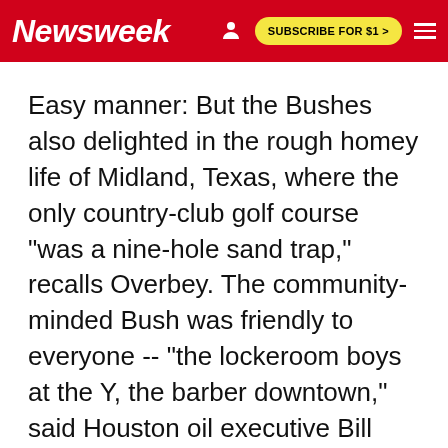Newsweek | SUBSCRIBE FOR $1 >
Easy manner: But the Bushes also delighted in the rough homey life of Midland, Texas, where the only country-club golf course "was a nine-hole sand trap," recalls Overbey. The community-minded Bush was friendly to everyone -- "the lockeroom boys at the Y, the barber downtown," said Houston oil executive Bill Liedtke, a partner in Bush's company, Zapata Petroleum Corp. But the easy manner was somewhat deceptive. Sweating out the